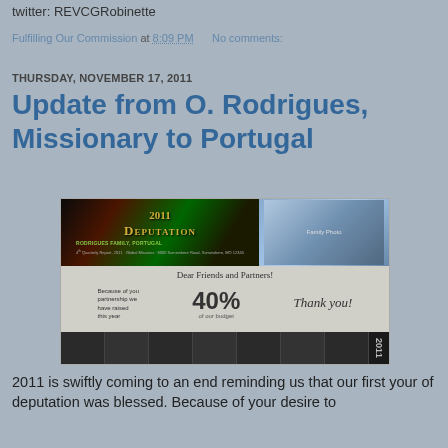twitter: REVCGRobinette
Fulfilling Our Commission at 8:09 PM   No comments:
THURSDAY, NOVEMBER 17, 2011
Update from O. Rodrigues, Missionary to Portugal
[Figure (photo): 2011 Deputation newsletter image showing a dark dramatic background with '2011 DEPUTATION RODRIGUES FAMILY PORTUGAL' text on the left, a family photo on the upper right, middle section with 'Dear Friends and Partners!' text, '40% of our budget' statistic, and 'Thank you!' script, and a bottom strip of black and white photos.]
2011 is swiftly coming to an end reminding us that our first your of deputation was blessed. Because of your desire to